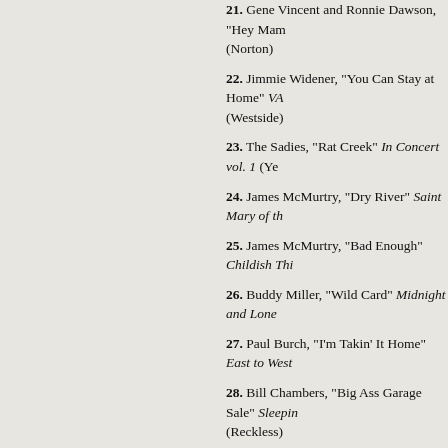21. Gene Vincent and Ronnie Dawson, "Hey Mam..." (Norton)
22. Jimmie Widener, "You Can Stay at Home" VA... (Westside)
23. The Sadies, "Rat Creek" In Concert vol. 1 (Ye...
24. James McMurtry, "Dry River" Saint Mary of th...
25. James McMurtry, "Bad Enough" Childish Thi...
26. Buddy Miller, "Wild Card" Midnight and Lone...
27. Paul Burch, "I'm Takin' It Home" East to West...
28. Bill Chambers, "Big Ass Garage Sale" Sleepin... (Reckless)
29. Steve Earle, "Guitar Town" Shut Up and Die L...
30. Wayne Hancock, "Tulsa" Tulsa (Bloodshot)
Posted by Don Jacobson at 6:30 PM | Permalink
What I Watched Last Night
What a great day on television yesterday. All angle... Baseball and football all day long. Bears win. Mo... great filler. Let me walk you through it.
Bears game with some Sandlot filler. Into the Eagl... Sandlot filler. Dirty Jobs marathon on Discovery p...